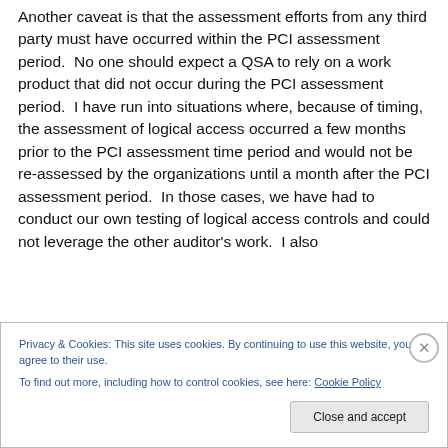Another caveat is that the assessment efforts from any third party must have occurred within the PCI assessment period.  No one should expect a QSA to rely on a work product that did not occur during the PCI assessment period.  I have run into situations where, because of timing, the assessment of logical access occurred a few months prior to the PCI assessment time period and would not be re-assessed by the organizations until a month after the PCI assessment period.  In those cases, we have had to conduct our own testing of logical access controls and could not leverage the other auditor's work.  I also
Privacy & Cookies: This site uses cookies. By continuing to use this website, you agree to their use.
To find out more, including how to control cookies, see here: Cookie Policy